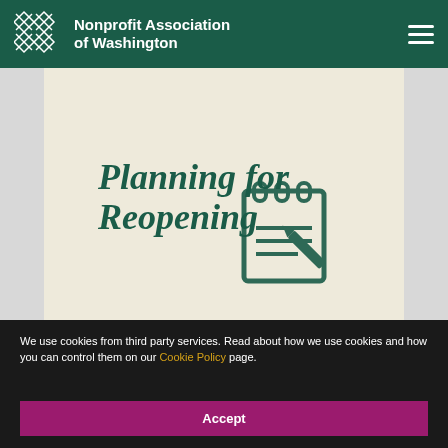[Figure (logo): Nonprofit Association of Washington logo with geometric snowflake/diamond pattern and organization name]
[Figure (illustration): Planning for Reopening banner image with italic bold green text and a notebook/calendar with pencil icon on a cream/beige background]
We use cookies from third party services. Read about how we use cookies and how you can control them on our Cookie Policy page.
Accept